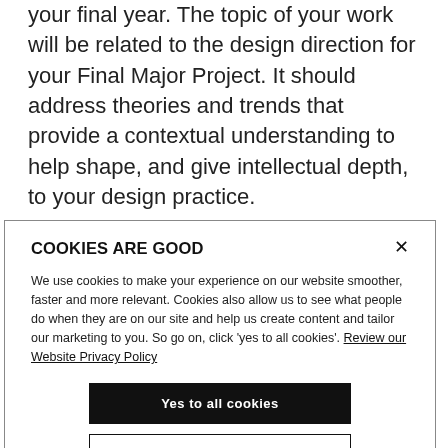your final year. The topic of your work will be related to the design direction for your Final Major Project. It should address theories and trends that provide a contextual understanding to help shape, and give intellectual depth, to your design practice.
[Figure (screenshot): Cookie consent modal dialog with title 'COOKIES ARE GOOD', descriptive text about cookie usage, a link to 'Review our Website Privacy Policy', a black 'Yes to all cookies' button, and a white 'Let me choose' button with black border.]
images/illustrations as required;